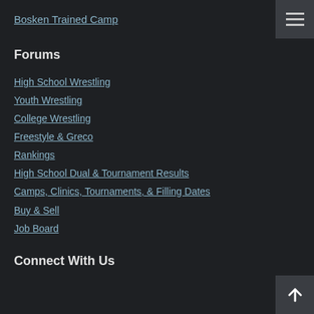Bosken Trained Camp
Forums
High School Wrestling
Youth Wrestling
College Wrestling
Freestyle & Greco
Rankings
High School Dual & Tournament Results
Camps, Clinics, Tournaments, & Filling Dates
Buy & Sell
Job Board
Connect With Us